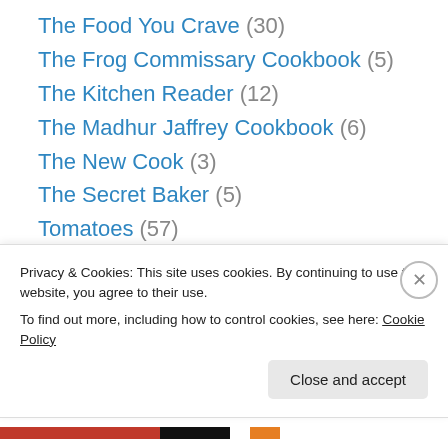The Food You Crave (30)
The Frog Commissary Cookbook (5)
The Kitchen Reader (12)
The Madhur Jaffrey Cookbook (6)
The New Cook (3)
The Secret Baker (5)
Tomatoes (57)
Torte (3)
Tuesdays with Dorie (221)
TWD (5)
Twitterbake (11)
Privacy & Cookies: This site uses cookies. By continuing to use this website, you agree to their use. To find out more, including how to control cookies, see here: Cookie Policy